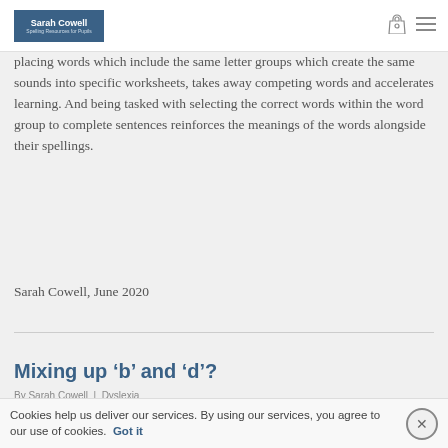Sarah Cowell
placing words which include the same letter groups which create the same sounds into specific worksheets, takes away competing words and accelerates learning. And being tasked with selecting the correct words within the word group to complete sentences reinforces the meanings of the words alongside their spellings.
Buy the book here
Sarah Cowell, June 2020
Mixing up ‘b’ and ‘d’?
By Sarah Cowell | Dyslexia
Mixing up the lower case letters, ‘b’ and ‘d’ can
Cookies help us deliver our services. By using our services, you agree to our use of cookies. Got it